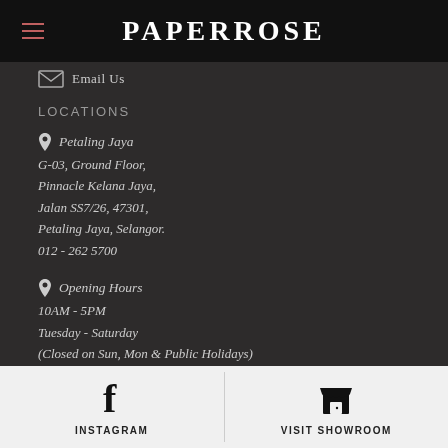PAPERROSE
Email Us
LOCATIONS
Petaling Jaya
G-03, Ground Floor,
Pinnacle Kelana Jaya,
Jalan SS7/26, 47301,
Petaling Jaya, Selangor.
012 - 262 5700
Opening Hours
10AM - 5PM
Tuesday - Saturday
(Closed on Sun, Mon & Public Holidays)
INSTAGRAM | VISIT SHOWROOM